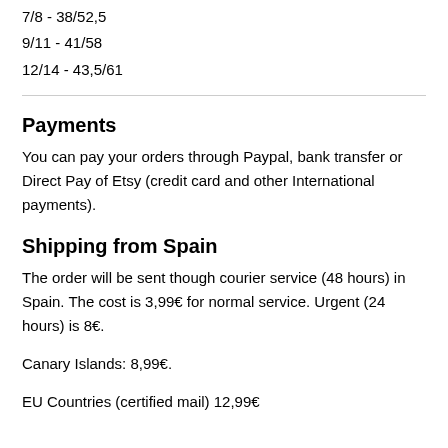7/8 - 38/52,5
9/11 - 41/58
12/14 - 43,5/61
Payments
You can pay your orders through Paypal, bank transfer or Direct Pay of Etsy (credit card and other International payments).
Shipping from Spain
The order will be sent though courier service (48 hours) in Spain. The cost is 3,99€ for normal service. Urgent (24 hours) is 8€.
Canary Islands: 8,99€.
EU Countries (certified mail) 12,99€